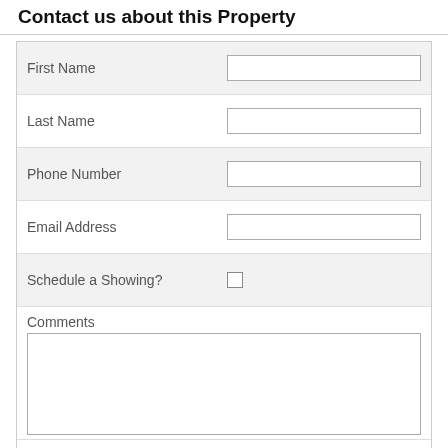Contact us about this Property
First Name
Last Name
Phone Number
Email Address
Schedule a Showing?
Comments
Submit Contact Form
We respect your online privacy and will never